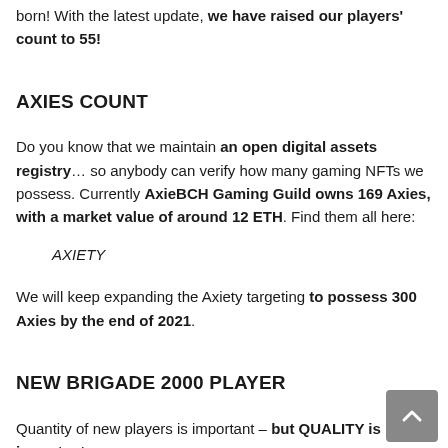born! With the latest update, we have raised our players' count to 55!
AXIES COUNT
Do you know that we maintain an open digital assets registry… so anybody can verify how many gaming NFTs we possess. Currently AxieBCH Gaming Guild owns 169 Axies, with a market value of around 12 ETH. Find them all here:
AXIETY
We will keep expanding the Axiety targeting to possess 300 Axies by the end of 2021.
NEW BRIGADE 2000 PLAYER
Quantity of new players is important – but QUALITY is important